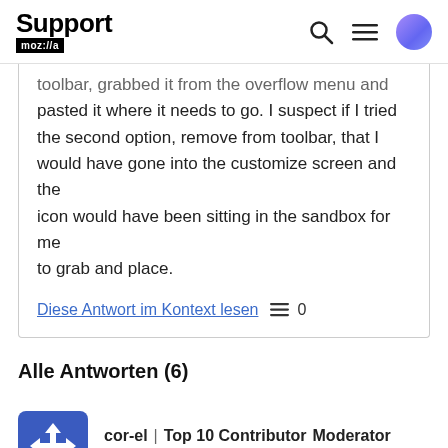Support mozilla//a
toolbar, grabbed it from the overflow menu and pasted it where it needs to go. I suspect if I tried the second option, remove from toolbar, that I would have gone into the customize screen and the icon would have been sitting in the sandbox for me to grab and place.
Diese Antwort im Kontext lesen  0
Alle Antworten (6)
cor-el | Top 10 Contributor  Moderator
25.11.21, 13:37